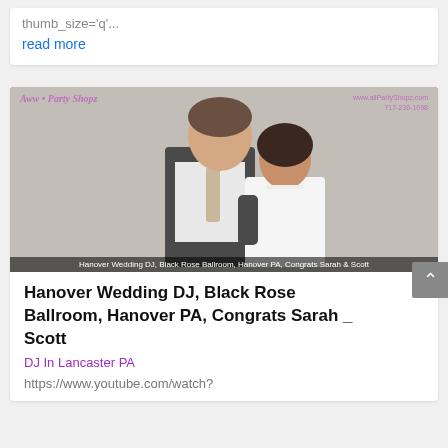thumb_size='q'...
read more
[Figure (photo): Wedding couple photo — groom in dark vest with tie, bride in white dress with pearl necklace, standing against a white brick wall. Overlay logos: 'All Party Shopz' top-left in purple/italic, website and phone number top-right in purple. Bottom caption bar: 'Hanover Wedding DJ, Black Rose Ballroom, Hanover PA, Congrats Sarah & Scott']
Hanover Wedding DJ, Black Rose Ballroom, Hanover PA, Congrats Sarah _ Scott
DJ In Lancaster PA
https://www.youtube.com/watch?